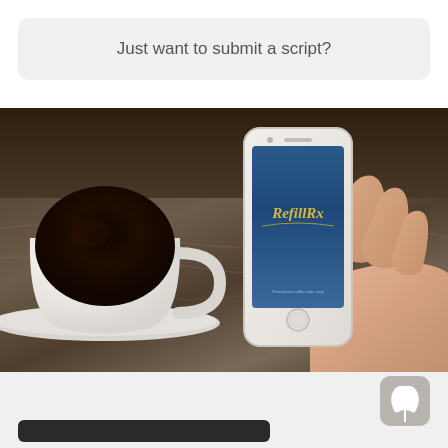Just want to submit a script?
[Figure (photo): A hand holding a white iPhone displaying the RefillRx app splash screen with a teal/blue gradient background and gold RefillRx logo text, next to a coffee cup on a marble surface]
[Figure (logo): Small logo icon in a rounded square, bottom right corner]